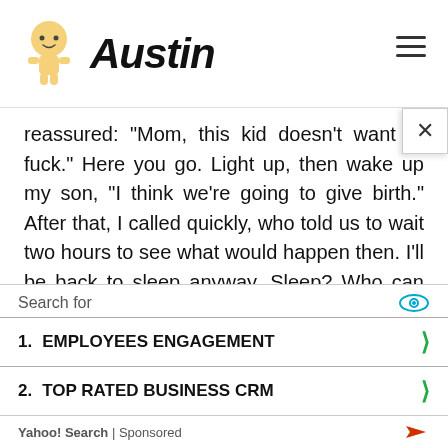Austin
reassured: "Mom, this kid doesn't want to fuck." Here you go. Light up, then wake up my son, "I think we're going to give birth." After that, I called quickly, who told us to wait two hours to see what would happen then. I'll be back to sleep anyway. Sleep? Who can sleep back then ?! By the time I laid down the cellphone, my brother had made the coffee, which we drank quietly, side by side. Sometimes we look at each other and then discuss how we might be born today. It is also a
Search for
1. EMPLOYEES ENGAGEMENT
2. TOP RATED BUSINESS CRM
Yahoo! Search | Sponsored